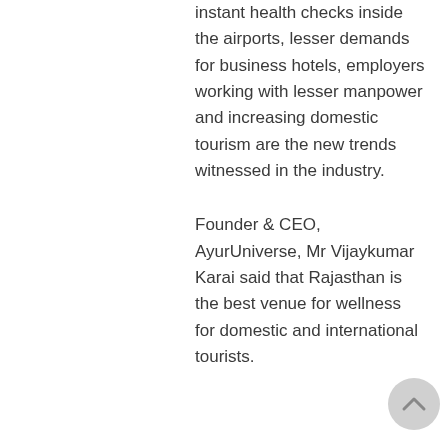instant health checks inside the airports, lesser demands for business hotels, employers working with lesser manpower and increasing domestic tourism are the new trends witnessed in the industry.
Founder & CEO, AyurUniverse, Mr Vijaykumar Karai said that Rajasthan is the best venue for wellness for domestic and international tourists.